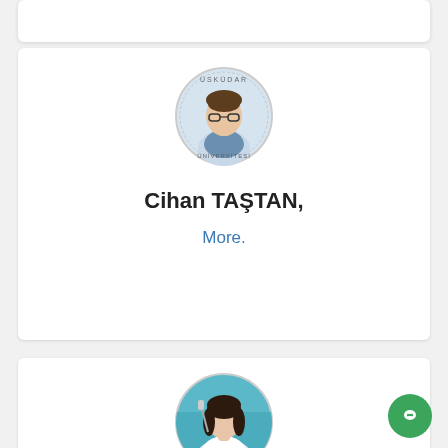[Figure (photo): Circular profile photo of Cihan TASTAN with Üsküdar University logo/seal overlay]
Cihan TAŞTAN,
More.
[Figure (photo): Circular profile photo of Fatma Duygu KAYA YERTUTANOL, MD]
Fatma Duygu KAYA YERTUTANOL, MD
Assistant Professor of Neurological / Mental